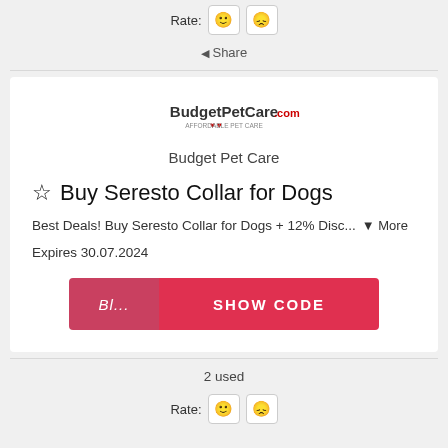Rate: 🙂 😞
◀ Share
[Figure (logo): BudgetPetCare.com logo with red hearts and tagline]
Budget Pet Care
☆ Buy Seresto Collar for Dogs
Best Deals! Buy Seresto Collar for Dogs + 12% Disc... ▼ More
Expires 30.07.2024
Bl... SHOW CODE
2 used
Rate: 🙂 😞